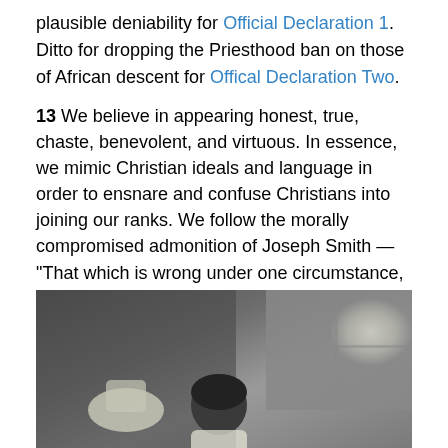plausible deniability for Official Declaration 1. Ditto for dropping the Priesthood ban on those of African descent for Offical Declaration Two.
13 We believe in appearing honest, true, chaste, benevolent, and virtuous. In essence, we mimic Christian ideals and language in order to ensnare and confuse Christians into joining our ranks. We follow the morally compromised admonition of Joseph Smith — “That which is wrong under one circumstance, may be, and often is, right under another… Whatever God requires is right, no matter what it is.” (History of the Church, 5:135)
[Figure (photo): Black and white photograph showing a person (partially visible, dark hair) in the foreground, with what appears to be a window and interior setting in the background.]